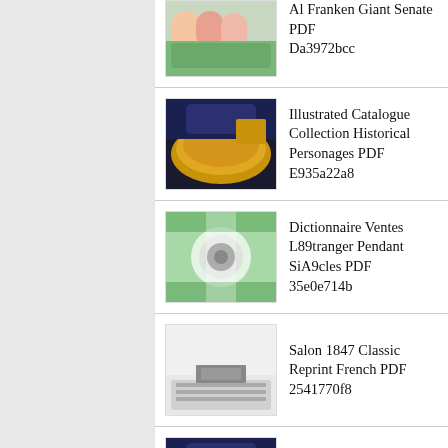Al Franken Giant Senate PDF Da3972bcc
Illustrated Catalogue Collection Historical Personages PDF E935a22a8
Dictionnaire Ventes L89tranger Pendant SiA9cles PDF 35e0e714b
Salon 1847 Classic Reprint French PDF 2541770f8
Dante Gabriel Rossetti Classic Reprint PDF 641402325
Works William Hogarth Vol Copper Plate PDF D56548548